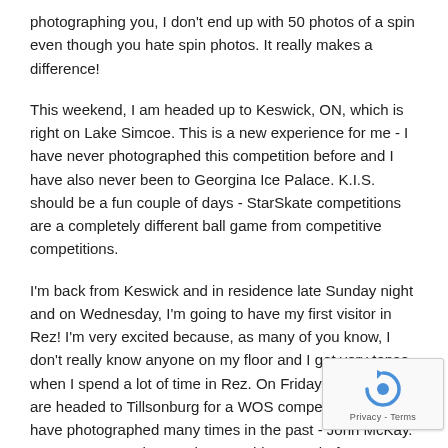photographing you, I don't end up with 50 photos of a spin even though you hate spin photos. It really makes a difference!
This weekend, I am headed up to Keswick, ON, which is right on Lake Simcoe. This is a new experience for me - I have never photographed this competition before and I have also never been to Georgina Ice Palace. K.I.S. should be a fun couple of days - StarSkate competitions are a completely different ball game from competitive competitions.
I'm back from Keswick and in residence late Sunday night and on Wednesday, I'm going to have my first visitor in Rez! I'm very excited because, as many of you know, I don't really know anyone on my floor and I get very tense when I spend a lot of time in Rez. On Friday, Laura and I are headed to Tillsonburg for a WOS competition that I have photographed many times in the past - John McKay. I am pretty sure that I've been to this arena before - I believe it is where I competed in my last competition in 20[...] - I believe I placed 6th of 12 - a fun little tidbit from when I co[...] (which was very rarely).
[Figure (other): reCAPTCHA privacy overlay widget showing a circular arrow icon and 'Privacy - Terms' text]